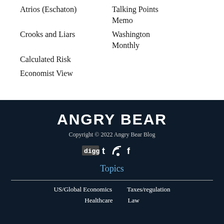Atrios (Eschaton)
Talking Points Memo
Crooks and Liars
Washington Monthly
Calculated Risk
Economist View
ANGRY BEAR
Copyright © 2022 Angry Bear Blog
[Figure (infographic): Social media icons: digg, twitter, RSS, facebook]
Topics
US/Global Economics
Taxes/regulation
Healthcare
Law